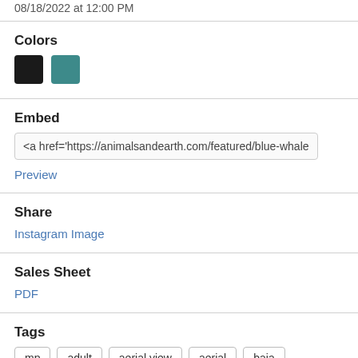08/18/2022 at 12:00 PM
Colors
Black and teal color swatches
Embed
<a href='https://animalsandearth.com/featured/blue-whale-balaen...
Preview
Share
Instagram Image
Sales Sheet
PDF
Tags
mp
adult
aerial view
aerial
baja
baja california
balaenoptera
balaenopteridae
balaenoptera musculus
baleen whale
blue whale
cetacean
cetaceans
color image
endangered species
environment
environmental
environmental issue
fauna
full length